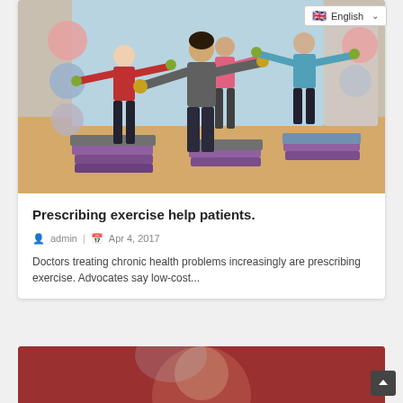[Figure (photo): Group of four adults doing aerobic step exercise with hand weights in a gym, with exercise balls in the background. An English language selector dropdown is visible in the top right corner.]
Prescribing exercise help patients.
admin  |  Apr 4, 2017
Doctors treating chronic health problems increasingly are prescribing exercise. Advocates say low-cost...
[Figure (photo): Partial view of a second article image showing a person with reddish background — only the top portion is visible.]